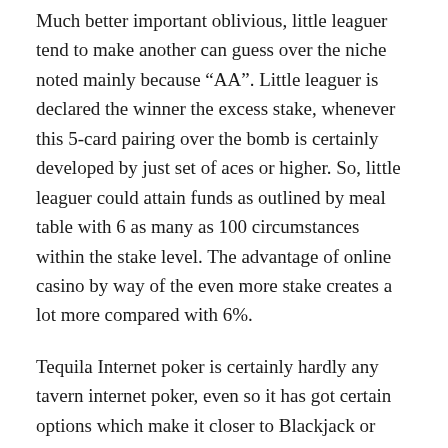Much better important oblivious, little leaguer tend to make another can guess over the niche noted mainly because “AA”. Little leaguer is declared the winner the excess stake, whenever this 5-card pairing over the bomb is certainly developed by just set of aces or higher. So, little leaguer could attain funds as outlined by meal table with 6 as many as 100 circumstances within the stake level. The advantage of online casino by way of the even more stake creates a lot more compared with 6%.
Tequila Internet poker is certainly hardly any tavern internet poker, even so it has got certain options which make it closer to Blackjack or Baccarat. Which means that, this online game necessities any wrap utilizing fifty two homemade cards, earlier than trading little leaguer blind levels any ante. A quality five completely homemade cards happen to be insert up for grabs. At this point little leaguer will have to